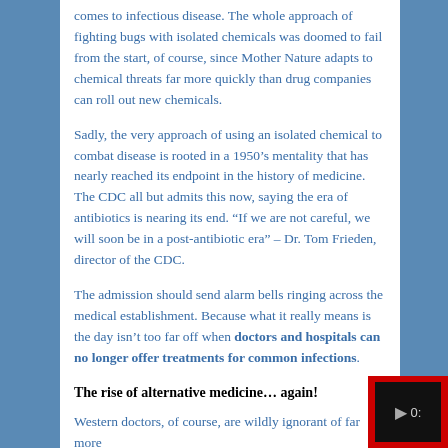comes to infectious disease. The whole approach of fighting bugs with isolated chemicals was doomed to fail from the start, of course, since Mother Nature adapts to chemical threats far more quickly than drug companies can roll out new chemicals.
Sadly, the very approach of using an isolated chemical to combat disease is rooted in a 1950's mentality that has nearly reached its endpoint in the history of medicine. The CDC all but admits this now, saying the era of antibiotics is nearing its end. “If we are not careful, we will soon be in a post-antibiotic era” – Dr. Tom Frieden, director of the CDC.
The admission should send alarm bells ringing across the medical establishment. Because what it really means is the day isn't too far off when doctors and hospitals can no longer offer treatments for common infections.
The rise of alternative medicine… again!
Western doctors, of course, are wildly ignorant of far more